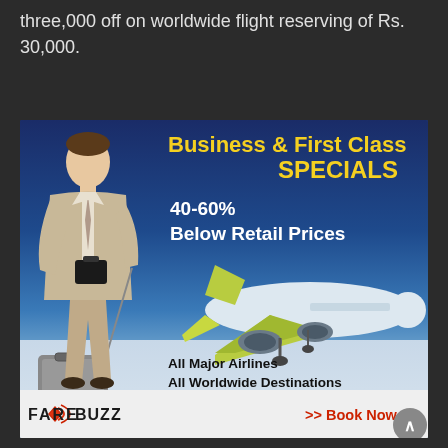three,000 off on worldwide flight reserving of Rs. 30,000.
[Figure (illustration): FareBuzz advertisement banner for Business & First Class Specials. Features a businessman with luggage, an airplane, and text: Business & First Class SPECIALS, 40-60% Below Retail Prices, All Major Airlines, All Worldwide Destinations, Live Customer Support 7 days a week, FARE BUZZ >> Book Now.]